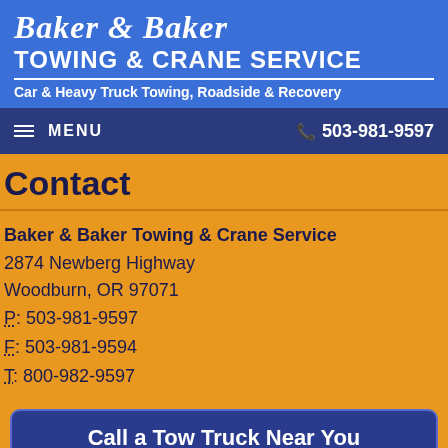Baker & Baker Towing & Crane Service
Car & Heavy Truck Towing, Roadside & Recovery
MENU  503-981-9597
Contact
Baker & Baker Towing & Crane Service
2874 Newberg Highway
Woodburn, OR 97071
P: 503-981-9597
F: 503-981-9594
T: 800-982-9597
Call a Tow Truck Near You